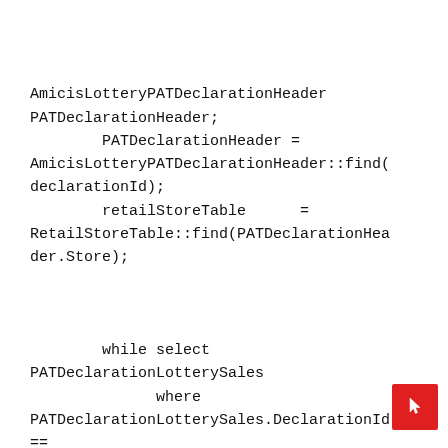AmicisLotteryPATDeclarationHeader PATDeclarationHeader;
        PATDeclarationHeader =
AmicisLotteryPATDeclarationHeader::find(declarationId);
        retailStoreTable      =
RetailStoreTable::find(PATDeclarationHeader.Store);


        while select PATDeclarationLotterySales
              where  PATDeclarationLotterySales.DeclarationId ==
PATDeclarationHeader.DeclarationId &&
              PATDeclarationLotterySales.GameType            ==
AmicisLotterySubTypes::ScratchGame &&
              PATDeclarationLotterySales.ProfileId          ==
PATDeclarationHeader.DeclarationProfile
        {
[Figure (other): Red button with a hand/cursor pointer icon in the bottom right corner]